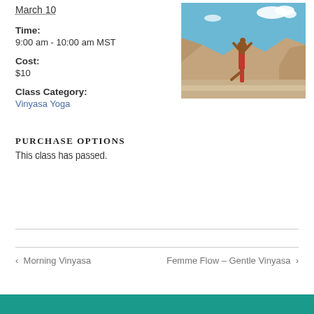March 10
Time:
9:00 am - 10:00 am MST
Cost:
$10
Class Category:
Vinyasa Yoga
[Figure (photo): Person performing a yoga tree pose on rocks outdoors, with rocky landscape and blue sky in the background]
PURCHASE OPTIONS
This class has passed.
< Morning Vinyasa
Femme Flow – Gentle Vinyasa >